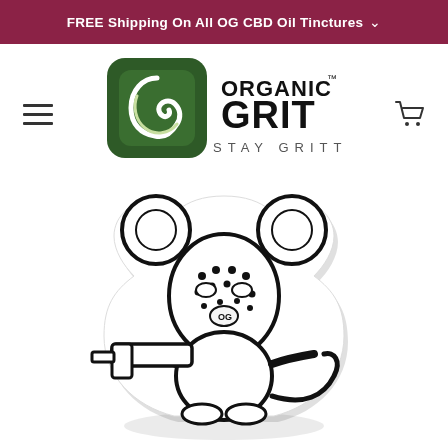FREE Shipping On All OG CBD Oil Tinctures
[Figure (logo): Organic Grit logo with green stylized leaf/snake emblem and text 'ORGANIC GRIT TM STAY GRITTY']
[Figure (illustration): Black and white cartoon illustration of a mouse character wearing a hockey mask holding a gun, sticker style with shadow outline, displayed on white background]